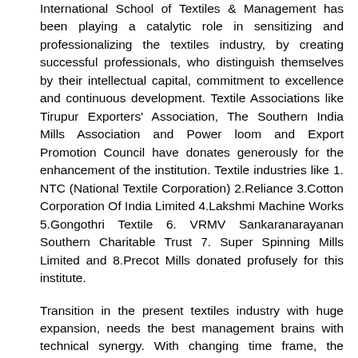International School of Textiles & Management has been playing a catalytic role in sensitizing and professionalizing the textiles industry, by creating successful professionals, who distinguish themselves by their intellectual capital, commitment to excellence and continuous development. Textile Associations like Tirupur Exporters' Association, The Southern India Mills Association and Power loom and Export Promotion Council have donates generously for the enhancement of the institution. Textile industries like 1. NTC (National Textile Corporation) 2.Reliance 3.Cotton Corporation Of India Limited 4.Lakshmi Machine Works 5.Gongothri Textile 6. VRMV Sankaranarayanan Southern Charitable Trust 7. Super Spinning Mills Limited and 8.Precot Mills donated profusely for this institute.
Transition in the present textiles industry with huge expansion, needs the best management brains with technical synergy. With changing time frame, the Institute has been taking pro-active steps to adopt itself to the changing dynamics of the textiles sector. The Institute...